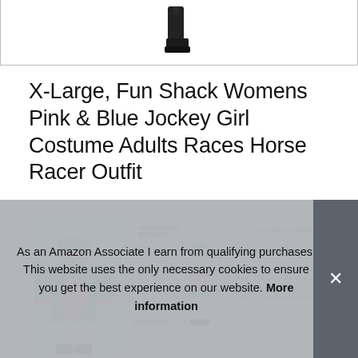[Figure (photo): Product boot/shoe image at top of page]
X-Large, Fun Shack Womens Pink & Blue Jockey Girl Costume Adults Races Horse Racer Outfit
[Figure (photo): Three thumbnail images: 1) Woman in pink and blue jockey costume, 2) Accessories included diagram with jockey outfit, 3) Morph Costumes Women's Size Guide chart]
Fun
includes
As an Amazon Associate I earn from qualifying purchases. This website uses the only necessary cookies to ensure you get the best experience on our website. More information